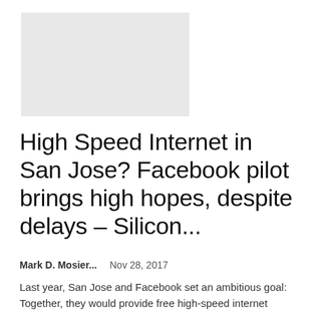[Figure (photo): Light gray rectangular placeholder image]
High Speed Internet in San Jose? Facebook pilot brings high hopes, despite delays – Silicon...
Mark D. Mosier...   Nov 28, 2017
Last year, San Jose and Facebook set an ambitious goal: Together, they would provide free high-speed internet access to the downtown public. More than a year later, this dream is still far from reality. While Silicon Valley seems like a...